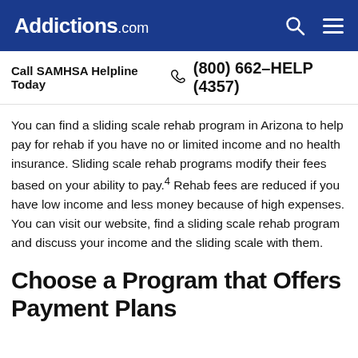Addictions.com
Call SAMHSA Helpline Today  (800) 662-HELP (4357)
You can find a sliding scale rehab program in Arizona to help pay for rehab if you have no or limited income and no health insurance. Sliding scale rehab programs modify their fees based on your ability to pay.4 Rehab fees are reduced if you have low income and less money because of high expenses. You can visit our website, find a sliding scale rehab program and discuss your income and the sliding scale with them.
Choose a Program that Offers Payment Plans